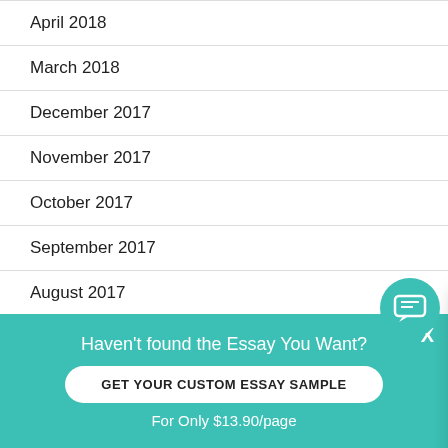April 2018
March 2018
December 2017
November 2017
October 2017
September 2017
August 2017
July 2017
[Figure (screenshot): Chat popup with avatar of Petra, teal header saying Hi! I'm Petra, body text: Would you like to get such a paper? How about receiving a customized one? Check it out link, and teal chat bubble icon]
Haven't found the Essay You Want?
GET YOUR CUSTOM ESSAY SAMPLE
For Only $13.90/page